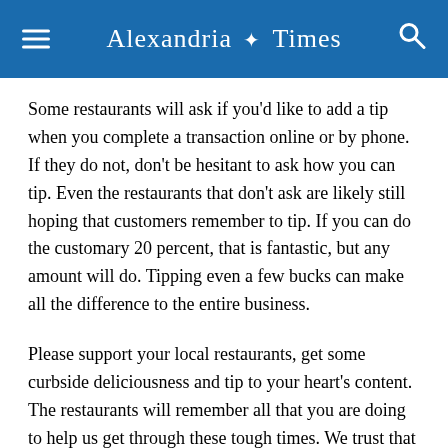Alexandria Times
Some restaurants will ask if you'd like to add a tip when you complete a transaction online or by phone. If they do not, don't be hesitant to ask how you can tip. Even the restaurants that don't ask are likely still hoping that customers remember to tip. If you can do the customary 20 percent, that is fantastic, but any amount will do. Tipping even a few bucks can make all the difference to the entire business.
Please support your local restaurants, get some curbside deliciousness and tip to your heart's content. The restaurants will remember all that you are doing to help us get through these tough times. We trust that we will all see you soon – happy, healthy and safe.